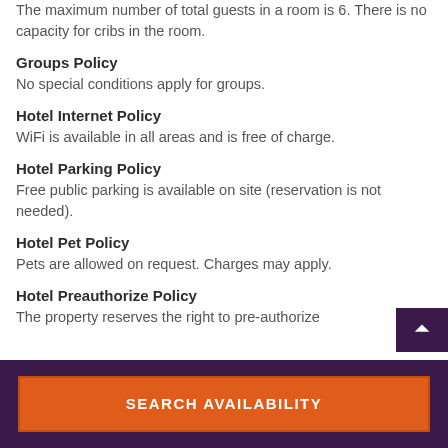The maximum number of total guests in a room is 6. There is no capacity for cribs in the room.
Groups Policy
No special conditions apply for groups.
Hotel Internet Policy
WiFi is available in all areas and is free of charge.
Hotel Parking Policy
Free public parking is available on site (reservation is not needed).
Hotel Pet Policy
Pets are allowed on request. Charges may apply.
Hotel Preauthorize Policy
The property reserves the right to pre-authorize
SEARCH AVAILABILITY